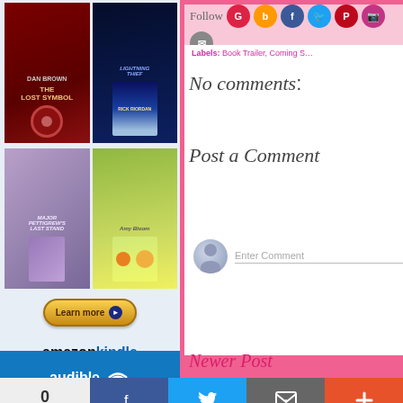[Figure (screenshot): Left sidebar with book covers (Dan Brown Lost Symbol, Lightning Thief, Major Pettigrew's Last Stand, Amy Bloom book), Learn more button, Amazon Kindle logo and Privacy text, Audible banner]
Follow
Labels: Book Trailer, Coming S...
No comments:
Post a Comment
Enter Comment
Newer Post
0 SHARES
[Figure (screenshot): Bottom social share bar with Facebook, Twitter, Email, and More buttons]